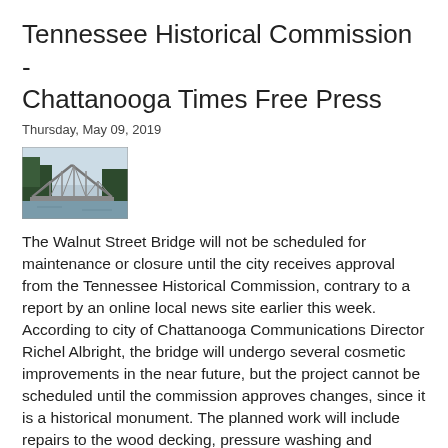Tennessee Historical Commission - Chattanooga Times Free Press
Thursday, May 09, 2019
[Figure (photo): A steel truss bridge photographed from below with trees and sky in the background — appears to be the Walnut Street Bridge in Chattanooga.]
The Walnut Street Bridge will not be scheduled for maintenance or closure until the city receives approval from the Tennessee Historical Commission, contrary to a report by an online local news site earlier this week. According to city of Chattanooga Communications Director Richel Albright, the bridge will undergo several cosmetic improvements in the near future, but the project cannot be scheduled until the commission approves changes, since it is a historical monument. The planned work will include repairs to the wood decking, pressure washing and repainting the superstructure and other improvements. According to Albright, the bridge is structurally sound, but ...